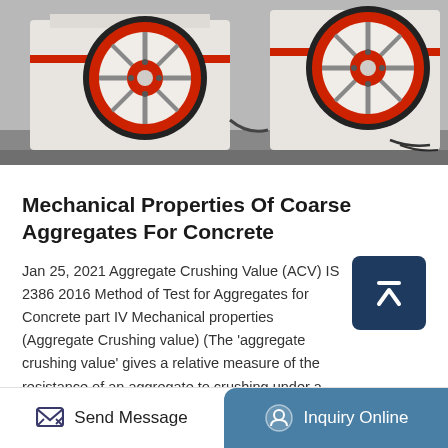[Figure (photo): Industrial crushing machine (jaw crusher) with large red and black flywheels, white painted body, photographed in a factory/workshop setting.]
Mechanical Properties Of Coarse Aggregates For Concrete
Jan 25, 2021 Aggregate Crushing Value (ACV) IS 2386 2016 Method of Test for Aggregates for Concrete part IV Mechanical properties (Aggregate Crushing value) (The 'aggregate crushing value' gives a relative measure of the resistance of an aggregate to crushing under a gradually applied compressive load.
Get Price
Send Message
Inquiry Online